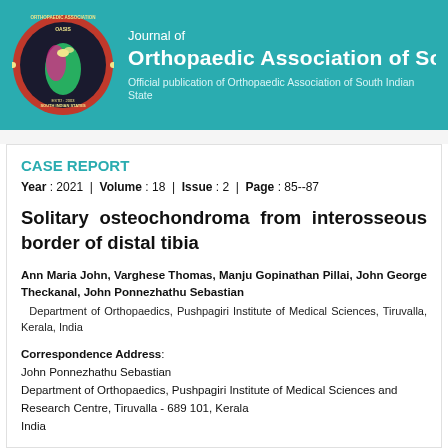Journal of Orthopaedic Association of South India — Official publication of Orthopaedic Association of South Indian States
CASE REPORT
Year : 2021 | Volume : 18 | Issue : 2 | Page : 85--87
Solitary osteochondroma from interosseous border of distal tibia
Ann Maria John, Varghese Thomas, Manju Gopinathan Pillai, John George Theckanal, John Ponnezhathu Sebastian
Department of Orthopaedics, Pushpagiri Institute of Medical Sciences, Tiruvalla, Kerala, India
Correspondence Address:
John Ponnezhathu Sebastian
Department of Orthopaedics, Pushpagiri Institute of Medical Sciences and Research Centre, Tiruvalla - 689 101, Kerala
India